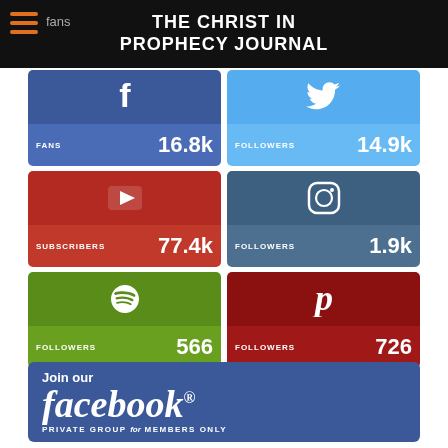THE CHRIST IN PROPHECY JOURNAL
[Figure (infographic): Social media stats grid: Facebook FANS 16.8k, Twitter FOLLOWERS 14.9k, YouTube SUBSCRIBERS 77.4k, Instagram FOLLOWERS 1.9k, Spotify FOLLOWERS 566, Pinterest FOLLOWERS 726]
[Figure (infographic): Join our facebook PRIVATE GROUP for MEMBERS ONLY banner with Facebook blue background]